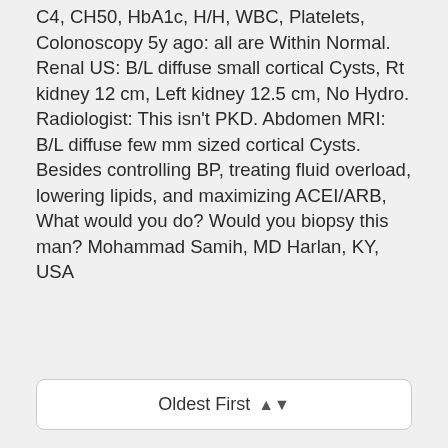C4, CH50, HbA1c, H/H, WBC, Platelets, Colonoscopy 5y ago: all are Within Normal. Renal US: B/L diffuse small cortical Cysts, Rt kidney 12 cm, Left kidney 12.5 cm, No Hydro. Radiologist: This isn't PKD. Abdomen MRI: B/L diffuse few mm sized cortical Cysts. Besides controlling BP, treating fluid overload, lowering lipids, and maximizing ACEI/ARB, What would you do? Would you biopsy this man? Mohammad Samih, MD Harlan, KY, USA
Oldest First